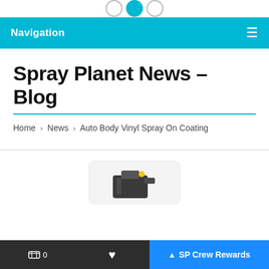Navigation
Spray Planet News – Blog
Home > News > Auto Body Vinyl Spray On Coating
[Figure (photo): Product photo of spray can/nozzle device on light gray background]
0  ♥  SP Crew Rewards